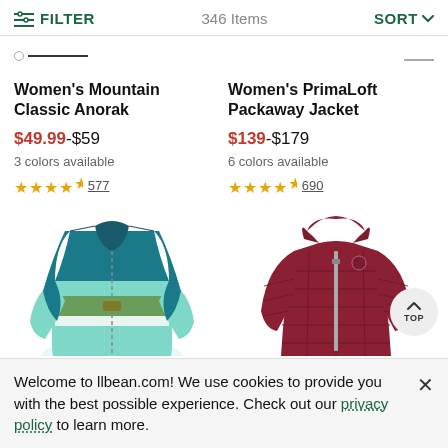FILTER   346 Items   SORT
Women's Mountain Classic Anorak
$49.99-$59
3 colors available
★★★★½ 577
Women's PrimaLoft Packaway Jacket
$139-$179
6 colors available
★★★★½ 690
[Figure (photo): Women's Mountain Classic Anorak jacket in teal/mint/green colorblock quilted style]
[Figure (photo): Women's PrimaLoft Packaway Jacket in dark red/maroon quilted style with hood]
Welcome to llbean.com! We use cookies to provide you with the best possible experience. Check out our privacy policy to learn more.